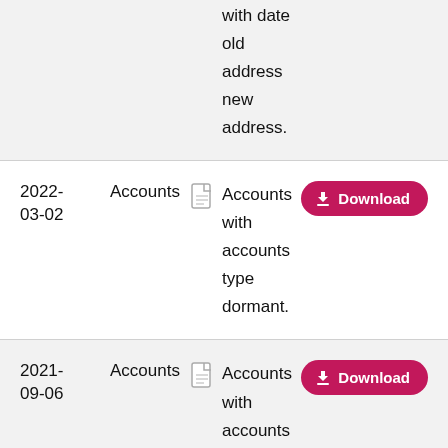with date old address new address.
| Date | Type | Icon | Description | Action |
| --- | --- | --- | --- | --- |
| 2022-03-02 | Accounts |  | Accounts with accounts type dormant. | Download |
| 2021-09-06 | Accounts |  | Accounts with accounts type dormant. | Download |